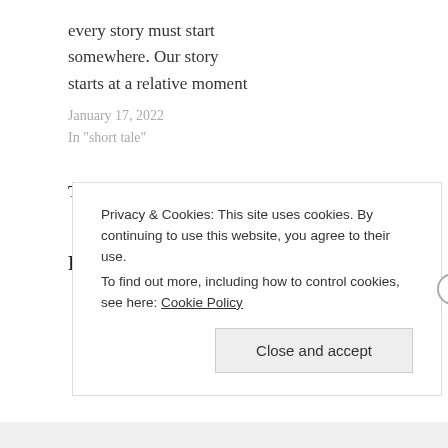every story must start somewhere. Our story starts at a relative moment
January 17, 2022
In "short tale"
Tagged:  fiction,  men,  short story,  writing
Published by Motso
Privacy & Cookies: This site uses cookies. By continuing to use this website, you agree to their use.
To find out more, including how to control cookies, see here: Cookie Policy
Close and accept